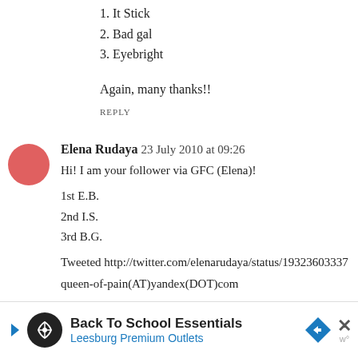1. It Stick
2. Bad gal
3. Eyebright
Again, many thanks!!
REPLY
Elena Rudaya  23 July 2010 at 09:26
Hi! I am your follower via GFC (Elena)!
1st E.B.
2nd I.S.
3rd B.G.
Tweeted http://twitter.com/elenarudaya/status/19323603337
queen-of-pain(AT)yandex(DOT)com
[Figure (other): Advertisement banner: Back To School Essentials - Leesburg Premium Outlets]